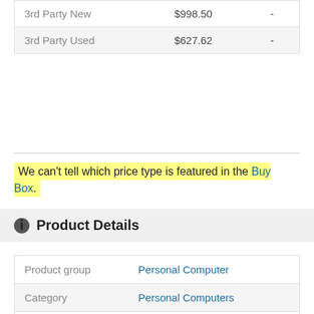| Source | Price |  |
| --- | --- | --- |
| 3rd Party New | $998.50 | - |
| 3rd Party Used | $627.62 | - |
We can't tell which price type is featured in the Buy Box.
Product Details
| Field | Value |
| --- | --- |
| Product group | Personal Computer |
| Category | Personal Computers |
| Manufacturer | Dell Technologies |
| Model | 4JVT3 |
| Locale | US |